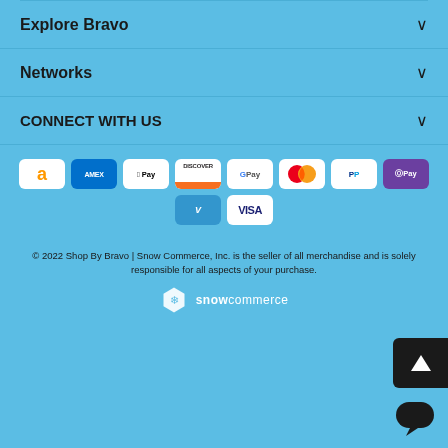Explore Bravo
Networks
CONNECT WITH US
[Figure (infographic): Payment method logos: Amazon, AMEX, Apple Pay, Discover, G Pay, Mastercard, PayPal, OPay, Venmo, Visa]
© 2022 Shop By Bravo | Snow Commerce, Inc. is the seller of all merchandise and is solely responsible for all aspects of your purchase.
[Figure (logo): Snow Commerce logo with hexagon snowflake icon and 'snowcommerce' text in white]